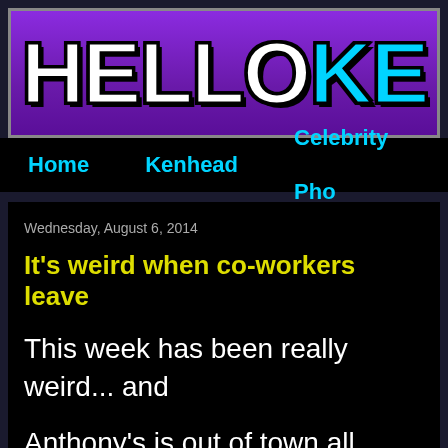[Figure (logo): HelloKe website logo banner with purple background, white 'HELLO' text and cyan 'KE' text in bold blocky font with black outline]
Home   Kenhead   Celebrity Pho
Wednesday, August 6, 2014
It's weird when co-workers leave
This week has been really weird... and
Anthony's is out of town all week and Lu